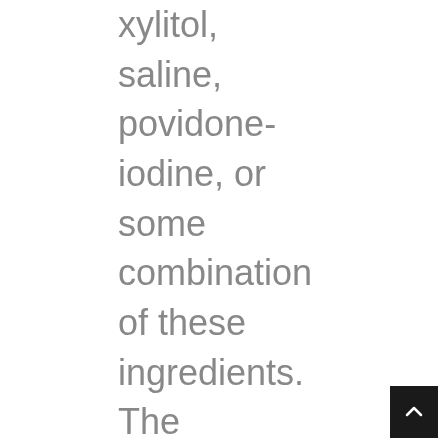xylitol, saline, povidone-iodine, or some combination of these ingredients. The companies cited studies demonstrating their nasal sprays were able to neutralize and kill the coronavirus. We also have learned that the nose is the dominant site where the virus replicates and infects other areas of the body. Rather than widely disseminating this important public health information, the FTC and the FDA are ruthlessly banning this information and taking these